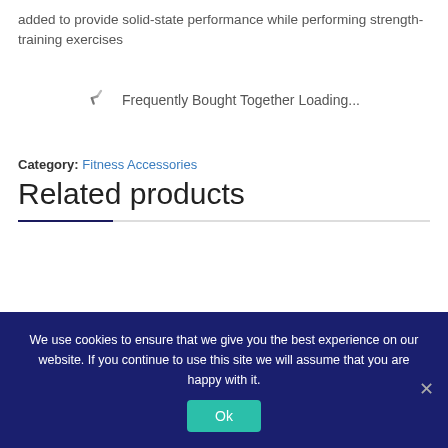added to provide solid-state performance while performing strength-training exercises
Frequently Bought Together Loading...
Category: Fitness Accessories
Related products
We use cookies to ensure that we give you the best experience on our website. If you continue to use this site we will assume that you are happy with it.